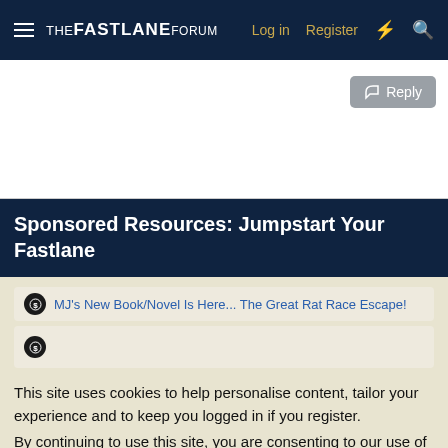THE FASTLANE FORUM | Log in | Register
[Figure (screenshot): White content area with a Reply button in the top right corner]
Sponsored Resources: Jumpstart Your Fastlane
MJ's New Book/Novel Is Here... The Great Rat Race Escape!
This site uses cookies to help personalise content, tailor your experience and to keep you logged in if you register.
By continuing to use this site, you are consenting to our use of cookies.
Accept | Learn more...